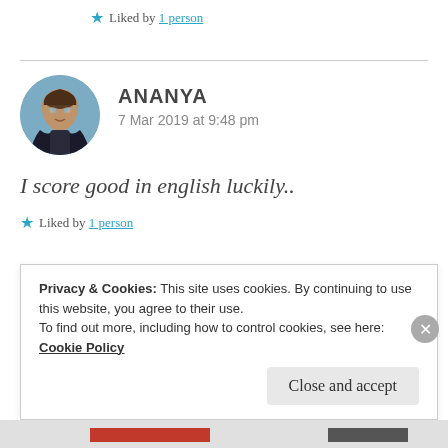★ Liked by 1 person
[Figure (photo): Round avatar photo of Ananya, a young woman smiling, with glasses, wearing a dark jacket, outdoors with blue sky background.]
ANANYA
7 Mar 2019 at 9:48 pm
I score good in english luckily..
★ Liked by 1 person
Privacy & Cookies: This site uses cookies. By continuing to use this website, you agree to their use.
To find out more, including how to control cookies, see here: Cookie Policy
Close and accept